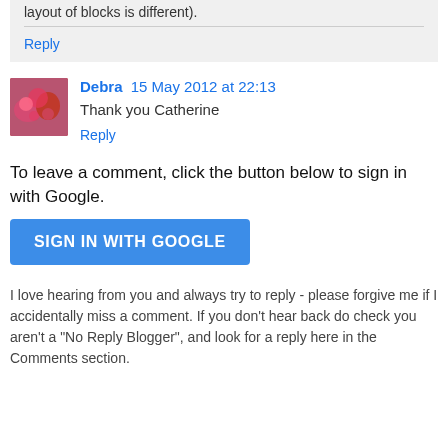layout of blocks is different).
Reply
Debra  15 May 2012 at 22:13
Thank you Catherine
Reply
To leave a comment, click the button below to sign in with Google.
SIGN IN WITH GOOGLE
I love hearing from you and always try to reply - please forgive me if I accidentally miss a comment. If you don't hear back do check you aren't a "No Reply Blogger", and look for a reply here in the Comments section.